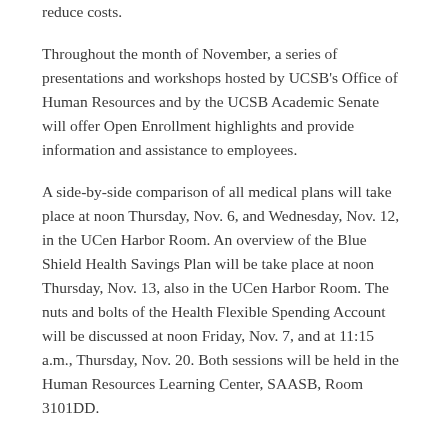reduce costs.
Throughout the month of November, a series of presentations and workshops hosted by UCSB's Office of Human Resources and by the UCSB Academic Senate will offer Open Enrollment highlights and provide information and assistance to employees.
A side-by-side comparison of all medical plans will take place at noon Thursday, Nov. 6, and Wednesday, Nov. 12, in the UCen Harbor Room. An overview of the Blue Shield Health Savings Plan will be take place at noon Thursday, Nov. 13, also in the UCen Harbor Room. The nuts and bolts of the Health Flexible Spending Account will be discussed at noon Friday, Nov. 7, and at 11:15 a.m., Thursday, Nov. 20. Both sessions will be held in the Human Resources Learning Center, SAASB, Room 3101DD.